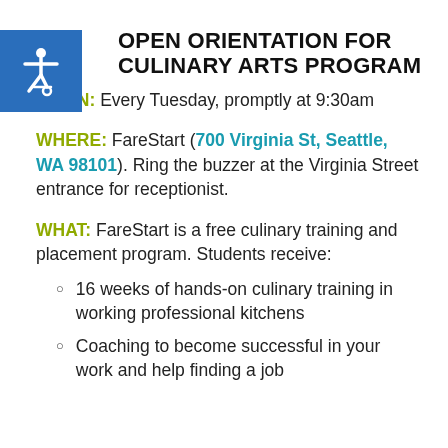OPEN ORIENTATION FOR CULINARY ARTS PROGRAM
WHEN: Every Tuesday, promptly at 9:30am
WHERE: FareStart (700 Virginia St, Seattle, WA 98101). Ring the buzzer at the Virginia Street entrance for receptionist.
WHAT: FareStart is a free culinary training and placement program. Students receive:
16 weeks of hands-on culinary training in working professional kitchens
Coaching to become successful in your work and help finding a job